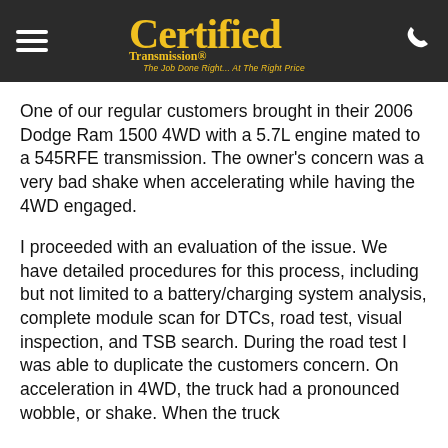Certified Transmission® — The Job Done Right... At The Right Price
One of our regular customers brought in their 2006 Dodge Ram 1500 4WD with a 5.7L engine mated to a 545RFE transmission. The owner's concern was a very bad shake when accelerating while having the 4WD engaged.
I proceeded with an evaluation of the issue. We have detailed procedures for this process, including but not limited to a battery/charging system analysis, complete module scan for DTCs, road test, visual inspection, and TSB search. During the road test I was able to duplicate the customers concern. On acceleration in 4WD, the truck had a pronounced wobble, or shake. When the truck